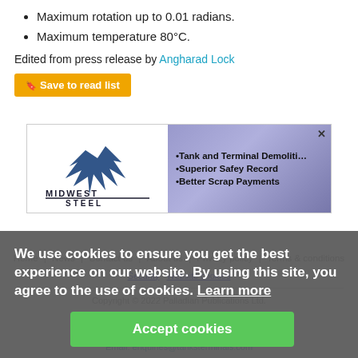Maximum rotation up to 0.01 radians.
Maximum temperature 80°C.
Edited from press release by Angharad Lock
[Figure (logo): Midwest Steel advertisement banner with logo and bullet points: Tank and Terminal Demolition, Superior Safety Record, Better Scrap Payments]
Home | News | Contact us | About us | Privacy policy | Terms & conditions | Security | Website cookies | Copyright © 2022 Palladian Publications Ltd. | Tel: +44 (0)1252 718 999 | Email: enquiries@tanksterminals.com
We use cookies to ensure you get the best experience on our website. By using this site, you agree to the use of cookies. Learn more
Accept cookies